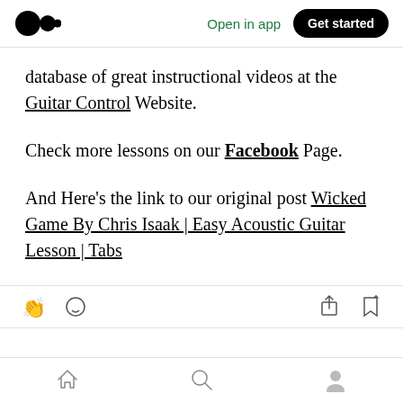Medium logo | Open in app | Get started
database of great instructional videos at the Guitar Control Website.
Check more lessons on our Facebook Page.
And Here's the link to our original post Wicked Game By Chris Isaak | Easy Acoustic Guitar Lesson | Tabs
Action bar icons: clap, comment, share, bookmark | Bottom nav: home, search, profile